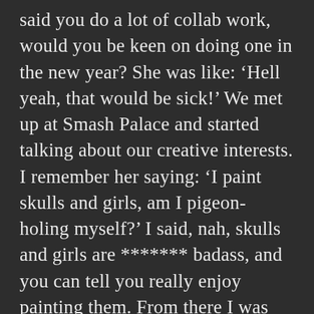said you do a lot of collab work, would you be keen on doing one in the new year? She was like: ‘Hell yeah, that would be sick!’ We met up at Smash Palace and started talking about our creative interests. I remember her saying: ‘I paint skulls and girls, am I pigeon-holing myself?’ I said, nah, skulls and girls are ******* badass, and you can tell you really enjoy painting them. From there I was introduced to Josh [Bradshaw] and we’ve been hanging out ever since. I call them my ‘art fam’ and they have been great sounding boards for my creative journey over the last eighteen months. After attending a few exhibitions at the start of last year I started to meet everyone and it was great because it just happened